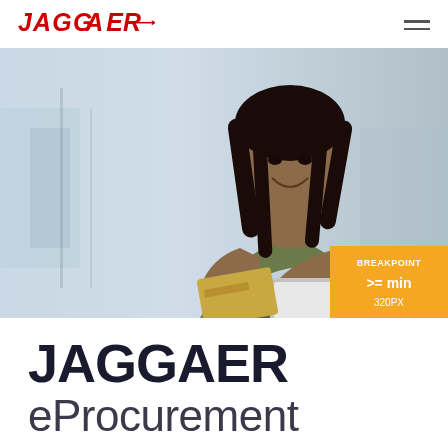[Figure (logo): JAGGAER logo in red with arrow, top left of page header]
[Figure (photo): Woman smiling holding a credit card and tablet, in a blurred indoor background. An orange badge in bottom-right corner reads BREAKPOINT >= min 320PX]
JAGGAER
eProcurement